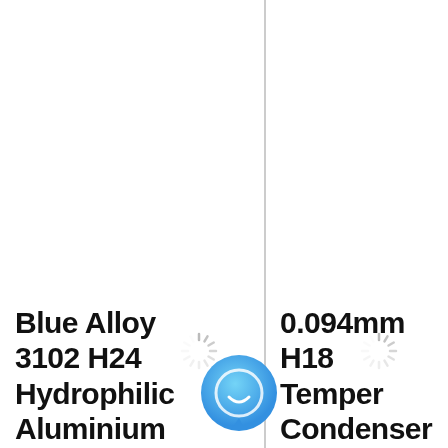[Figure (screenshot): Chat Now button with blue circular icon containing a smiley face chat bubble, floating over a two-column product listing page. Two loading spinners are visible in the upper portion of the columns.]
Blue Alloy 3102 H24 Hydrophilic Aluminium Foil For.
0.094mm H18 Temper Condenser Hydrophilic